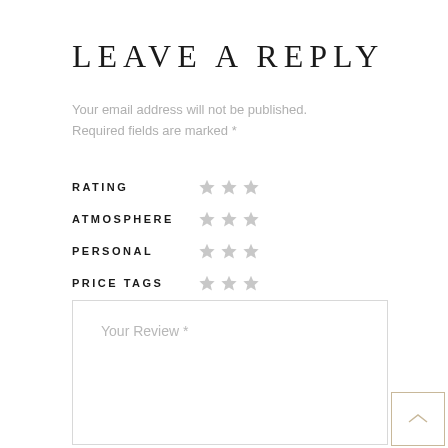LEAVE A REPLY
Your email address will not be published. Required fields are marked *
RATING ★ ★ ★
ATMOSPHERE ★ ★ ★
PERSONAL ★ ★ ★
PRICE TAGS ★ ★ ★
Your Review *